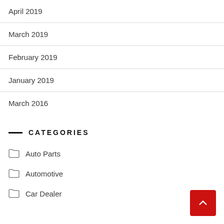April 2019
March 2019
February 2019
January 2019
March 2016
CATEGORIES
Auto Parts
Automotive
Car Dealer